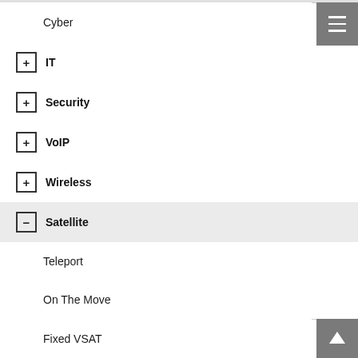Cyber
+ IT
+ Security
+ VoIP
+ Wireless
- Satellite
Teleport
On The Move
Fixed VSAT